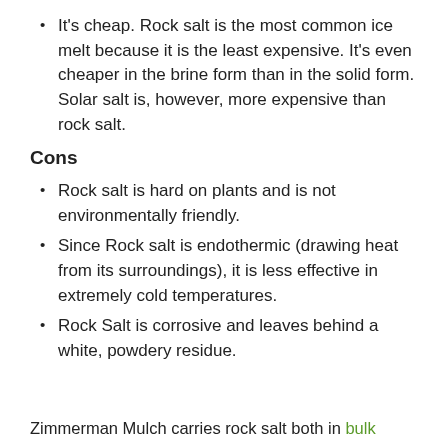It's cheap. Rock salt is the most common ice melt because it is the least expensive. It's even cheaper in the brine form than in the solid form. Solar salt is, however, more expensive than rock salt.
Cons
Rock salt is hard on plants and is not environmentally friendly.
Since Rock salt is endothermic (drawing heat from its surroundings), it is less effective in extremely cold temperatures.
Rock Salt is corrosive and leaves behind a white, powdery residue.
Zimmerman Mulch carries rock salt both in bulk